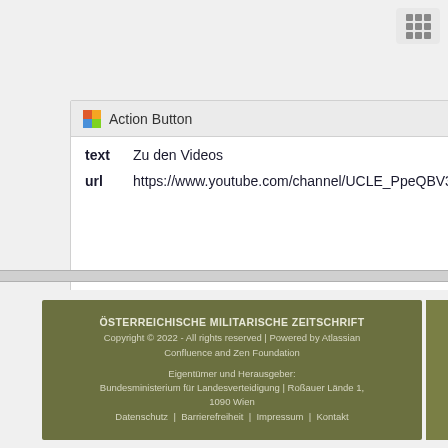[Figure (screenshot): Action Button configuration panel showing text field 'Zu den Videos' and url field with YouTube channel link]
...
ÖSTERREICHISCHE MILITARISCHE ZEITSCHRIFT
Copyright © 2022 - All rights reserved | Powered by Atlassian Confluence and Zen Foundation

Eigentümer und Herausgeber:
Bundesministerium für Landesverteidigung | Roßauer Lände 1, 1090 Wien
Datenschutz | Barrierefreiheit | Impressum | Kontakt